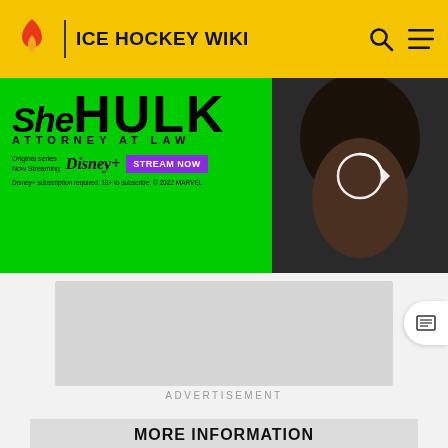ICE HOCKEY WIKI
[Figure (photo): She-Hulk Attorney at Law Disney+ advertisement banner with green background and character image on right]
[Figure (photo): Gray advertisement placeholder box]
ADVERTISEMENT
MORE INFORMATION
We want your honest take on online discussions
SURVEY: ONLINE FORUMS
Top C
Categ